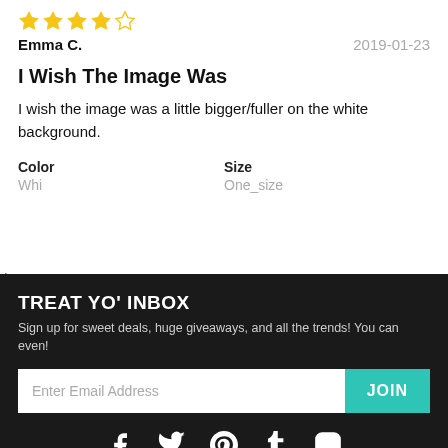[Figure (other): 4 out of 5 star rating shown as gold stars]
Emma C.   2019-01-23
I Wish The Image Was
I wish the image was a little bigger/fuller on the white background.
Color
Whi
Size
One_size
TREAT YO' INBOX
Sign up for sweet deals, huge giveaways, and all the trends! You can even!
Enter Email Address  JOIN
[Figure (other): Social media icons: Facebook, Twitter, Pinterest, Tumblr, Instagram]
About Us   Brands